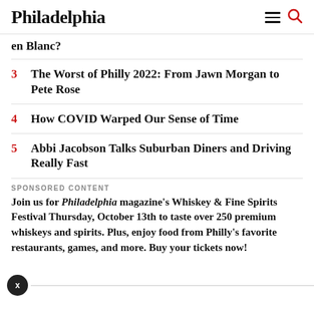Philadelphia
en Blanc?
3 The Worst of Philly 2022: From Jawn Morgan to Pete Rose
4 How COVID Warped Our Sense of Time
5 Abbi Jacobson Talks Suburban Diners and Driving Really Fast
SPONSORED CONTENT
Join us for Philadelphia magazine’s Whiskey & Fine Spirits Festival Thursday, October 13th to taste over 250 premium whiskeys and spirits. Plus, enjoy food from Philly’s favorite restaurants, games, and more. Buy your tickets now!